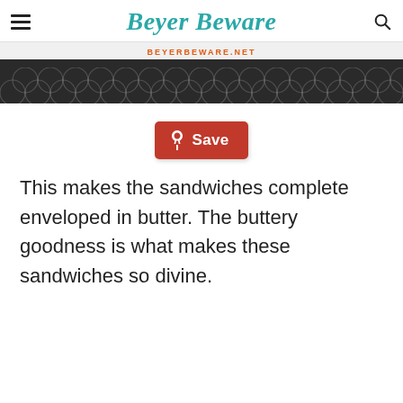Beyer Beware
[Figure (photo): Partial photo showing a dish or container with a trellis/quatrefoil pattern background and a URL bar reading BEYERBEWARE.NET in orange text]
[Figure (other): Red Pinterest Save button with pushpin icon]
This makes the sandwiches complete enveloped in butter. The buttery goodness is what makes these sandwiches so divine.